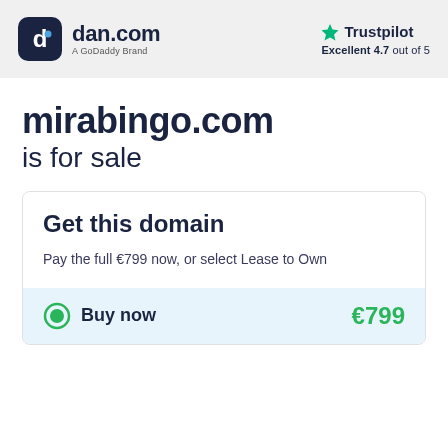dan.com — A GoDaddy Brand | Trustpilot Excellent 4.7 out of 5
mirabingo.com is for sale
Get this domain
Pay the full €799 now, or select Lease to Own
Buy now €799